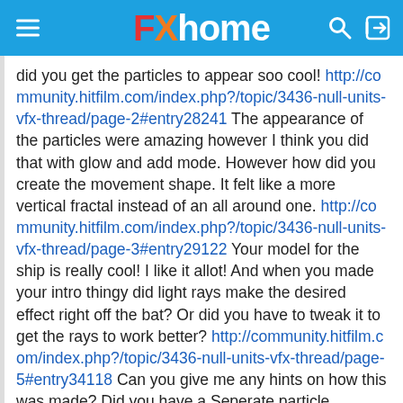FXhome
did you get the particles to appear soo cool! http://community.hitfilm.com/index.php?/topic/3436-null-units-vfx-thread/page-2#entry28241 The appearance of the particles were amazing however I think you did that with glow and add mode. However how did you create the movement shape. It felt like a more vertical fractal instead of an all around one. http://community.hitfilm.com/index.php?/topic/3436-null-units-vfx-thread/page-3#entry29122 Your model for the ship is really cool! I like it allot! And when you made your intro thingy did light rays make the desired effect right off the bat? Or did you have to tweak it to get the rays to work better? http://community.hitfilm.com/index.php?/topic/3436-null-units-vfx-thread/page-5#entry34118 Can you give me any hints on how this was made? Did you have a Seperate particle simulator for the outside part?